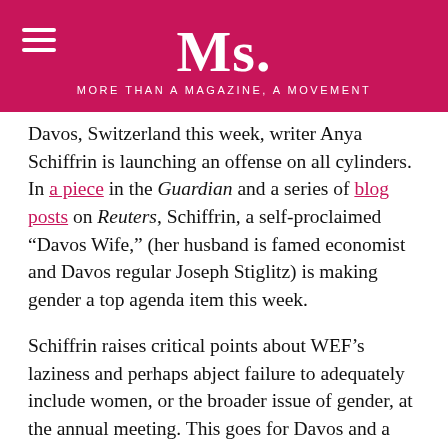Ms. — MORE THAN A MAGAZINE, A MOVEMENT
Davos, Switzerland this week, writer Anya Schiffrin is launching an offense on all cylinders. In a piece in the Guardian and a series of blog posts on Reuters, Schiffrin, a self-proclaimed “Davos Wife,” (her husband is famed economist and Davos regular Joseph Stiglitz) is making gender a top agenda item this week.
Schiffrin raises critical points about WEF’s laziness and perhaps abject failure to adequately include women, or the broader issue of gender, at the annual meeting. This goes for Davos and a number of regional economic summits that happen year-round. WEF is male-dominated, she points out, as